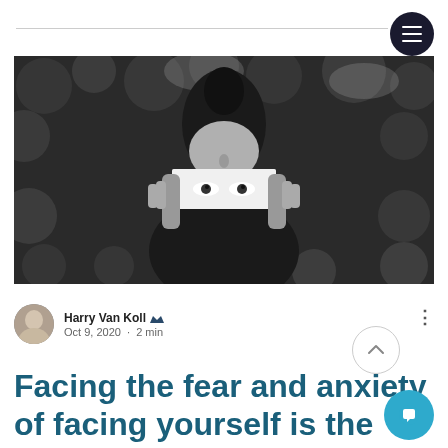[Figure (photo): Black and white photo of a person holding a mirror up to their face, reflecting their eyes, surrounded by foliage background.]
Harry Van Koll · Oct 9, 2020 · 2 min
Facing the fear and anxiety of facing yourself is the very